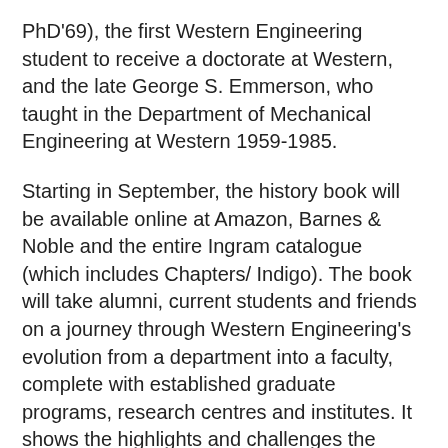PhD'69), the first Western Engineering student to receive a doctorate at Western, and the late George S. Emmerson, who taught in the Department of Mechanical Engineering at Western 1959-1985.
Starting in September, the history book will be available online at Amazon, Barnes & Noble and the entire Ingram catalogue (which includes Chapters/ Indigo). The book will take alumni, current students and friends on a journey through Western Engineering's evolution from a department into a faculty, complete with established graduate programs, research centres and institutes. It shows the highlights and challenges the faculty faced through the lens of five academic leaders spanning more than four decades of engineering education at Western University. Personal stories and photographs of Western Engineering's alumni and friends will provide a truly authentic walk down memory lane.
Be sure to share your photos and memories with us on social